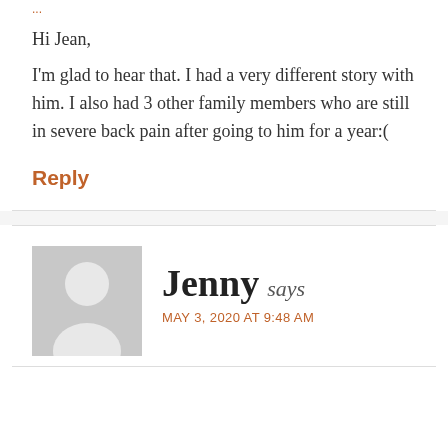Hi Jean,
I'm glad to hear that. I had a very different story with him. I also had 3 other family members who are still in severe back pain after going to him for a year:(
Reply
Jenny says
MAY 3, 2020 AT 9:48 AM